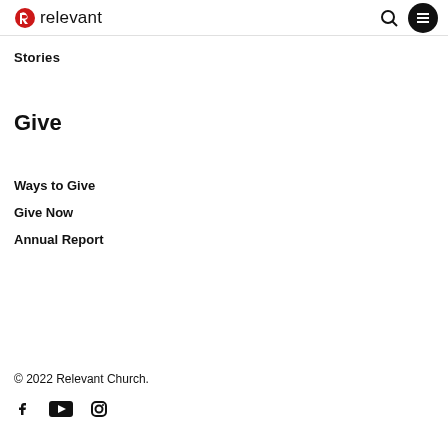relevant
Stories
Give
Ways to Give
Give Now
Annual Report
© 2022 Relevant Church.